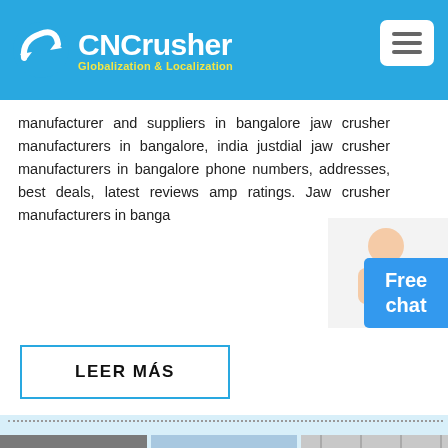CNCrusher Globalization & Localization
manufacturer and suppliers in bangalore jaw crusher manufacturers in bangalore, india justdial jaw crusher manufacturers in bangalore phone numbers, addresses, best deals, latest reviews amp ratings. Jaw crusher manufacturers in bangalore,
[Figure (photo): Customer service representative overlay on free chat button]
LEER MÁS
[Figure (photo): Three industrial machinery photos: cone crusher on left, machinery on truck in middle, green equipment in warehouse on right]